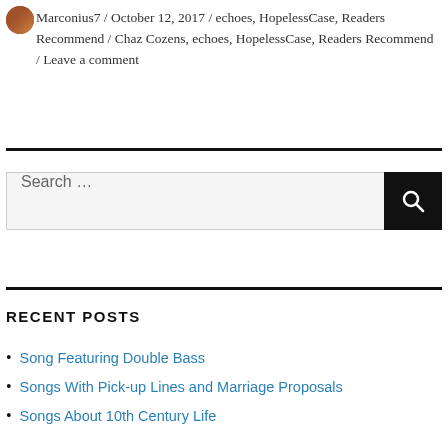Marconius7 / October 12, 2017 / echoes, HopelessCase, Readers Recommend / Chaz Cozens, echoes, HopelessCase, Readers Recommend / Leave a comment
Search ...
RECENT POSTS
Song Featuring Double Bass
Songs With Pick-up Lines and Marriage Proposals
Songs About 10th Century Life